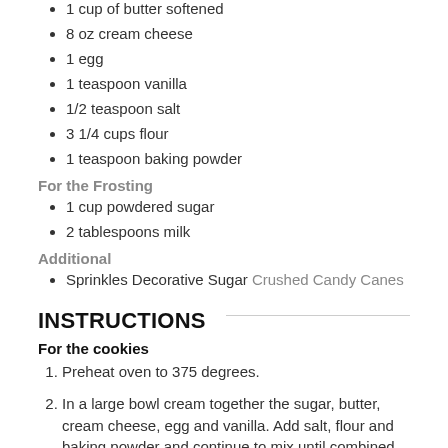1 cup of butter softened
8 oz cream cheese
1 egg
1 teaspoon vanilla
1/2 teaspoon salt
3 1/4 cups flour
1 teaspoon baking powder
For the Frosting
1 cup powdered sugar
2 tablespoons milk
Additional
Sprinkles Decorative Sugar Crushed Candy Canes
INSTRUCTIONS
For the cookies
Preheat oven to 375 degrees.
In a large bowl cream together the sugar, butter, cream cheese, egg and vanilla. Add salt, flour and baking powder and continue to mix until combined.
On a nonstick cookie sheet or silicone baking mats, add tablespoons of dough for each cookie. With the back of a spoon gently press down each cookie to slightly flatten